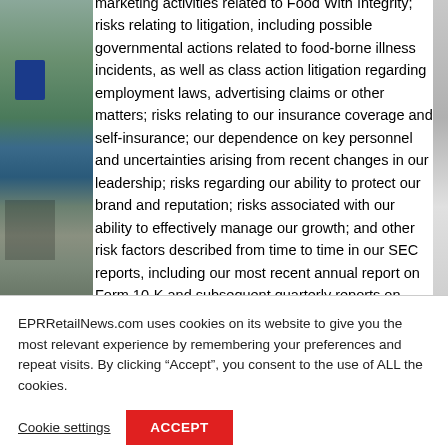marketing activities related to Food With Integrity; risks relating to litigation, including possible governmental actions related to food-borne illness incidents, as well as class action litigation regarding employment laws, advertising claims or other matters; risks relating to our insurance coverage and self-insurance; our dependence on key personnel and uncertainties arising from recent changes in our leadership; risks regarding our ability to protect our brand and reputation; risks associated with our ability to effectively manage our growth; and other risk factors described from time to time in our SEC reports, including our most recent annual report on Form 10-K and subsequent quarterly reports on Form 10-Q, all
EPRRetailNews.com uses cookies on its website to give you the most relevant experience by remembering your preferences and repeat visits. By clicking “Accept”, you consent to the use of ALL the cookies.
Cookie settings
ACCEPT